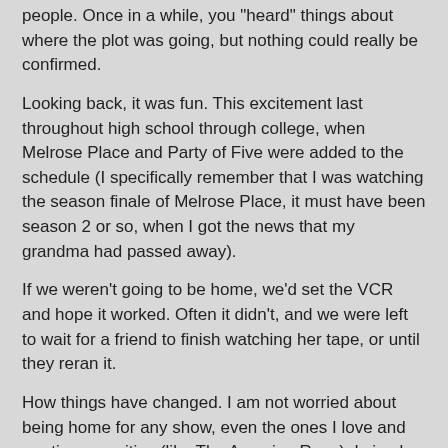people. Once in a while, you "heard" things about where the plot was going, but nothing could really be confirmed.
Looking back, it was fun. This excitement last throughout high school through college, when Melrose Place and Party of Five were added to the schedule (I specifically remember that I was watching the season finale of Melrose Place, it must have been season 2 or so, when I got the news that my grandma had passed away).
If we weren't going to be home, we'd set the VCR and hope it worked. Often it didn't, and we were left to wait for a friend to finish watching her tape, or until they reran it.
How things have changed. I am not worried about being home for any show, even the ones I love and are time-sensitive (like The Amazing Race). I simply set the Tivo, and know that it will work, and that it will find a rerun if there is a conflict. Or, if I fail to do that, I can get on the Internet and either find out what happened, download the episode from the network site, or go to YouTube for highlights.